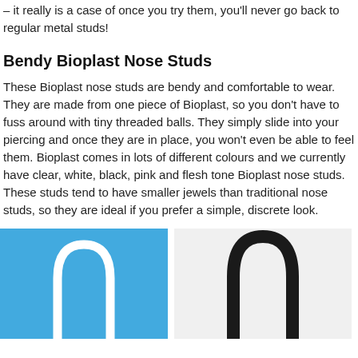– it really is a case of once you try them, you'll never go back to regular metal studs!
Bendy Bioplast Nose Studs
These Bioplast nose studs are bendy and comfortable to wear. They are made from one piece of Bioplast, so you don't have to fuss around with tiny threaded balls. They simply slide into your piercing and once they are in place, you won't even be able to feel them. Bioplast comes in lots of different colours and we currently have clear, white, black, pink and flesh tone Bioplast nose studs. These studs tend to have smaller jewels than traditional nose studs, so they are ideal if you prefer a simple, discrete look.
[Figure (photo): White U-shaped Bioplast nose stud on blue background]
[Figure (photo): Black U-shaped Bioplast nose stud on white/light background]